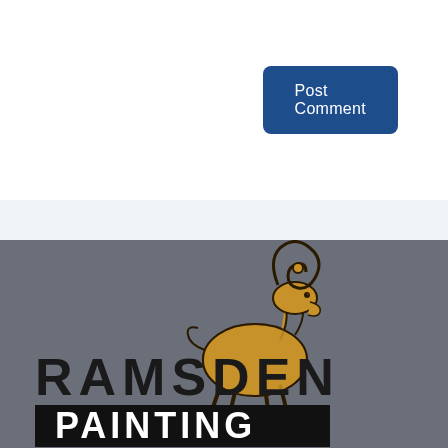[Figure (other): Blue rounded rectangle button labeled 'Post Comment' in the upper right area of a white section]
[Figure (logo): Ramsden Painting logo: a golden ram figure above bold black text 'RAMSDEN' and a black banner with white bold text 'PAINTING', on a dark grey background]